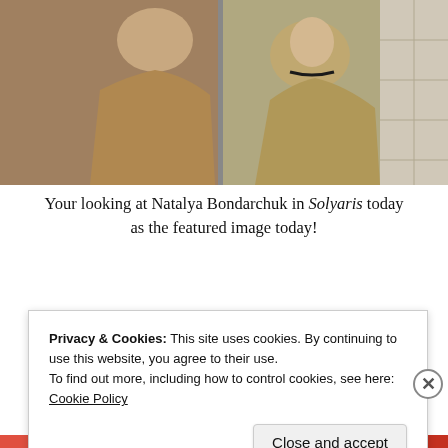[Figure (photo): A young woman with a braid, viewed from behind, looking at herself in a mirror. The image is from the Soviet film Solyaris (Solaris). The scene is moody and cinematic.]
Your looking at Natalya Bondarchuk in Solyaris today as the featured image today!
[Figure (screenshot): An app advertisement showing 'Your Journal for life' with a blue background and calendar-style photo thumbnails labeled with '05' dates and a January 2020 badge.]
Privacy & Cookies: This site uses cookies. By continuing to use this website, you agree to their use.
To find out more, including how to control cookies, see here:
Cookie Policy
Close and accept